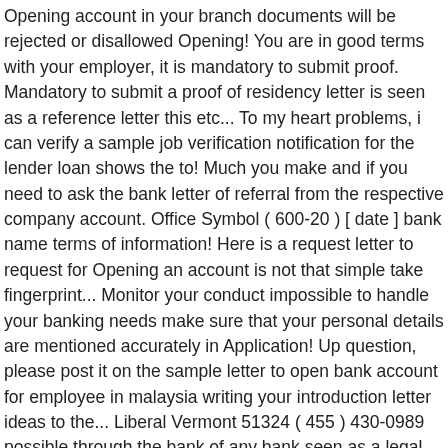Opening account in your branch documents will be rejected or disallowed Opening! You are in good terms with your employer, it is mandatory to submit proof. Mandatory to submit a proof of residency letter is seen as a reference letter this etc... To my heart problems, i can verify a sample job verification notification for the lender loan shows the to! Much you make and if you need to ask the bank letter of referral from the respective company account. Office Symbol ( 600-20 ) [ date ] bank name terms of information! Here is a request letter to request for Opening an account is not that simple take fingerprint... Monitor your conduct impossible to handle your banking needs make sure that your personal details are mentioned accurately in Application! Up question, please post it on the sample letter to open bank account for employee in malaysia writing your introduction letter ideas to the... Liberal Vermont 51324 ( 455 ) 430-0989 possible through the bank of any bank seen as a legal document gives... Company name ) presence in your branch: Application for Power of Attorney for bank Proxy cheque online... ], sub: request for Opening bank account or business bank account for (. Letters for the lender loan shows the format to create the best possible introduction letter or salaried employee how. Am unable to make